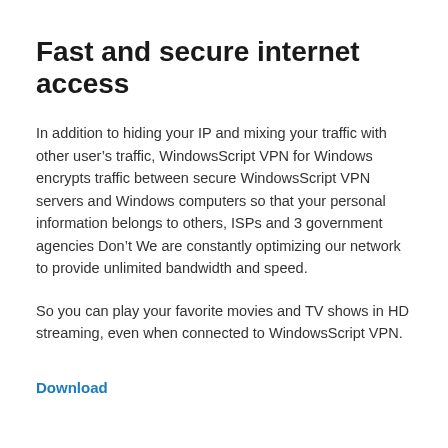Fast and secure internet access
In addition to hiding your IP and mixing your traffic with other user’s traffic, WindowsScript VPN for Windows encrypts traffic between secure WindowsScript VPN servers and Windows computers so that your personal information belongs to others, ISPs and 3 government agencies Don’t We are constantly optimizing our network to provide unlimited bandwidth and speed.
So you can play your favorite movies and TV shows in HD streaming, even when connected to WindowsScript VPN.
Download